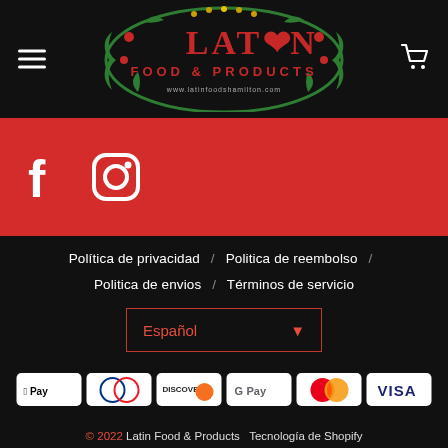[Figure (logo): Latin Food & Products logo with decorative green border and red text on black background, with website URL www.latinfoodshamilton.com]
[Figure (infographic): Red social media bar with white Facebook and Instagram icons]
Política de privacidad / Politica de reembolso / Politica de envios / Términos de servicio
Español (dropdown selector)
[Figure (infographic): Payment method icons: Apple Pay, Diners Club, Discover, Google Pay, Mastercard, Visa]
© 2022 Latin Food & Products  Tecnología de Shopify